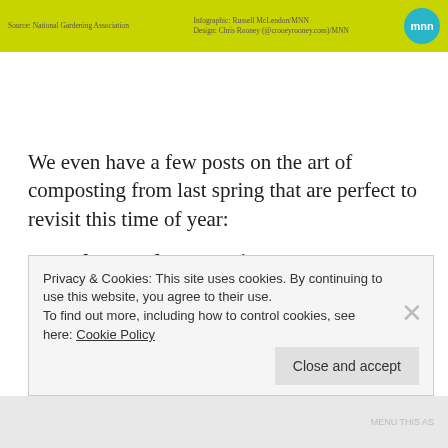Source: National Gardening Association | Infographic: Russell McLendon/MNN Design: Chris Rooney (@crooseyrooney.com)/MNN
We even have a few posts on the art of composting from last spring that are perfect to revisit this time of year:
The Art of Composting
Part I:   Getting Started Composting
Part II:  What to Compost
Privacy & Cookies: This site uses cookies. By continuing to use this website, you agree to their use.
To find out more, including how to control cookies, see here: Cookie Policy
MENU THIS AS